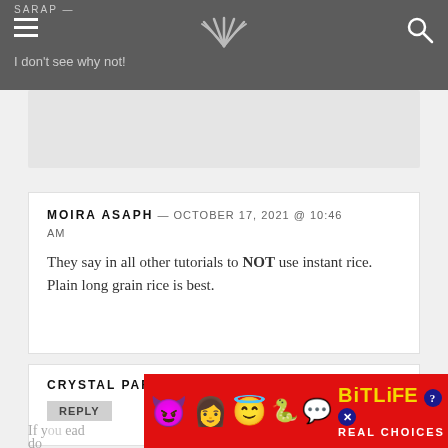SARAP — [navigation bar with whisk icon and search]
I don't see why not!
MOIRA ASAPH — OCTOBER 17, 2021 @ 10:46 AM
They say in all other tutorials to NOT use instant rice. Plain long grain rice is best.
CRYSTAL PARRY — NOVEMBER 5, 2020 @ 5:41 AM
REPLY
If y... ead do...
[Figure (screenshot): Advertisement banner for BitLife game with emoji characters, red background, yellow text reading BITLIFE and white text REAL CHOICES]